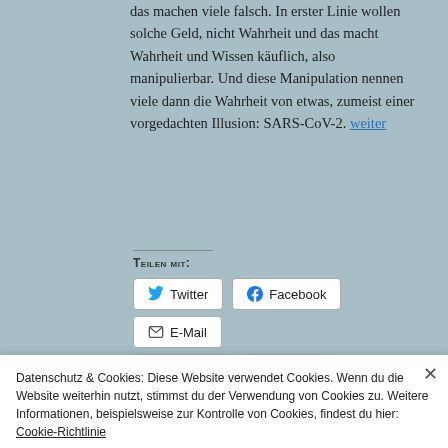das machen viele falsch. In erster Linie wollen solche Geld, nicht Wahrheit und das macht Wahrheit und Wissen käuflich, also manipulierbar. Und diese Manipulation nennen viele dann die Wahrheit von etwas, zumeist einer vorgedachten Illusion: SARS-CoV-2. weiter
Teilen mit:
[Figure (other): Social share buttons: Twitter, Facebook, E-Mail, Drucken, Mehr]
Wird geladen
Datenschutz & Cookies: Diese Website verwendet Cookies. Wenn du die Website weiterhin nutzt, stimmst du der Verwendung von Cookies zu. Weitere Informationen, beispielsweise zur Kontrolle von Cookies, findest du hier: Cookie-Richtlinie
Schließen und Akzeptieren